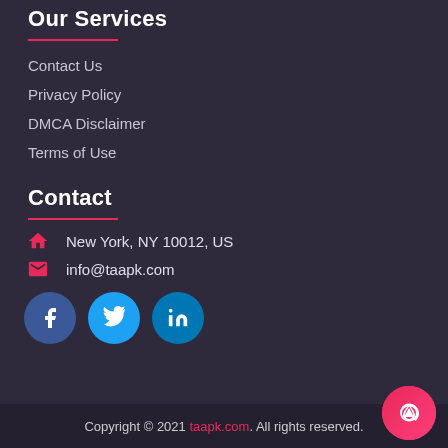Our Services
Contact Us
Privacy Policy
DMCA Disclaimer
Terms of Use
Contact
New York, NY 10012, US
info@taapk.com
[Figure (infographic): Social media icons: Facebook (blue circle), Twitter (cyan circle), LinkedIn (teal circle)]
Copyright © 2021 taapk.com. All rights reserved.